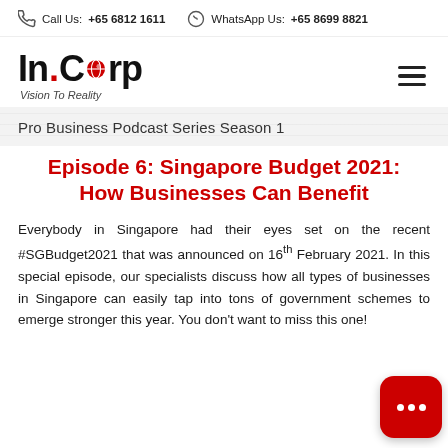Call Us: +65 6812 1611   WhatsApp Us: +65 8699 8821
[Figure (logo): InCorp logo with globe icon and tagline 'Vision To Reality']
Pro Business Podcast Series Season 1
Episode 6: Singapore Budget 2021: How Businesses Can Benefit
Everybody in Singapore had their eyes set on the recent #SGBudget2021 that was announced on 16th February 2021. In this special episode, our specialists discuss how all types of businesses in Singapore can easily tap into tons of government schemes to emerge stronger this year. You don't want to miss this one!